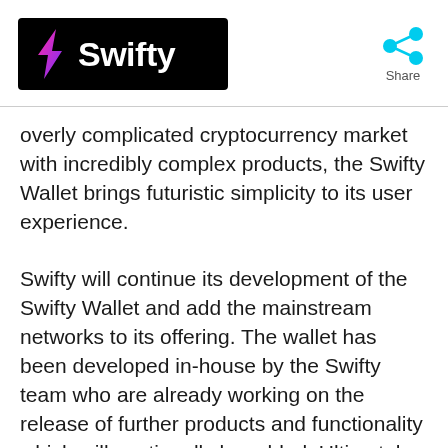[Figure (logo): Swifty logo: black rectangle with pink/purple lightning bolt S icon and white bold text 'Swifty']
[Figure (infographic): Cyan share icon (three connected circles)]
Share
overly complicated cryptocurrency market with incredibly complex products, the Swifty Wallet brings futuristic simplicity to its user experience.
Swifty will continue its development of the Swifty Wallet and add the mainstream networks to its offering. The wallet has been developed in-house by the Swifty team who are already working on the release of further products and functionality which will continually be added. Ultimately this will